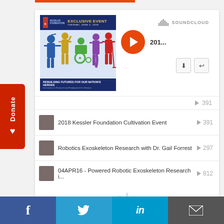[Figure (screenshot): SoundCloud embedded widget showing Kessler Foundation Exclusive Event playlist with play button, track list, and profile info for Gail Forrest PhD]
2018 Kessler Foundation Cultivation Event ▶ 391
Robotics Exoskeleton Research with Dr. Gail Forrest ▶ 297
04APR16 - Powered Robotic Exoskeleton Research i... ▶ 812
Kessler Foundation
Gail Forrest, PhD
Privacy policy
f  Twitter  in  Email (social share buttons)